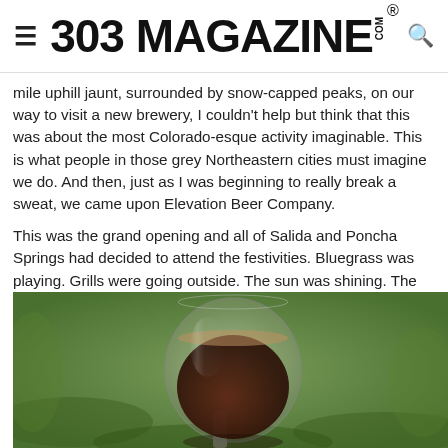303 MAGAZINE
mile uphill jaunt, surrounded by snow-capped peaks, on our way to visit a new brewery, I couldn't help but think that this was about the most Colorado-esque activity imaginable. This is what people in those grey Northeastern cities must imagine we do. And then, just as I was beginning to really break a sweat, we came upon Elevation Beer Company.
This was the grand opening and all of Salida and Poncha Springs had decided to attend the festivities. Bluegrass was playing. Grills were going outside. The sun was shining. The place was full of naturalist mountain/river types and so festive I expected to see Tom Bombadil come dancing through the crowd.
[Figure (photo): A stemless wine glass filled with dark beer or wine, photographed outdoors against a blurred green grass background.]